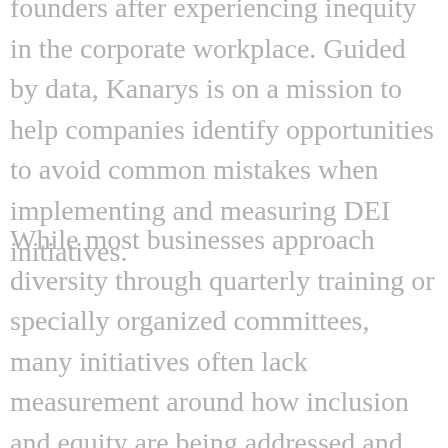founders after experiencing inequity in the corporate workplace. Guided by data, Kanarys is on a mission to help companies identify opportunities to avoid common mistakes when implementing and measuring DEI initiatives.
While most businesses approach diversity through quarterly training or specially organized committees, many initiatives often lack measurement around how inclusion and equity are being addressed and truly impact the business model. Kanarys takes an innovative data-informed approach by bringing together cutting-edge technologies like artificial intelligence (AI), machine learning (ML) and natural language processing (NLP) to